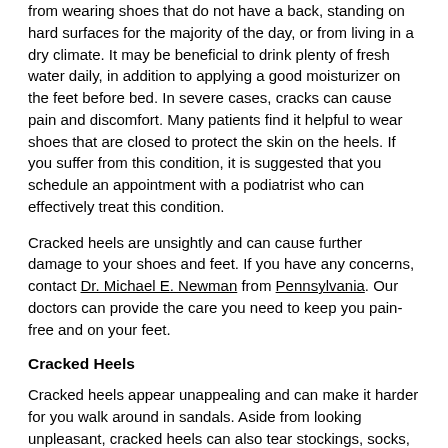from wearing shoes that do not have a back, standing on hard surfaces for the majority of the day, or from living in a dry climate. It may be beneficial to drink plenty of fresh water daily, in addition to applying a good moisturizer on the feet before bed. In severe cases, cracks can cause pain and discomfort. Many patients find it helpful to wear shoes that are closed to protect the skin on the heels. If you suffer from this condition, it is suggested that you schedule an appointment with a podiatrist who can effectively treat this condition.
Cracked heels are unsightly and can cause further damage to your shoes and feet. If you have any concerns, contact Dr. Michael E. Newman from Pennsylvania. Our doctors can provide the care you need to keep you pain-free and on your feet.
Cracked Heels
Cracked heels appear unappealing and can make it harder for you walk around in sandals. Aside from looking unpleasant, cracked heels can also tear stockings, socks, and wear out your shoes. There are several methods to help restore a cracked heel and prevent further damage.